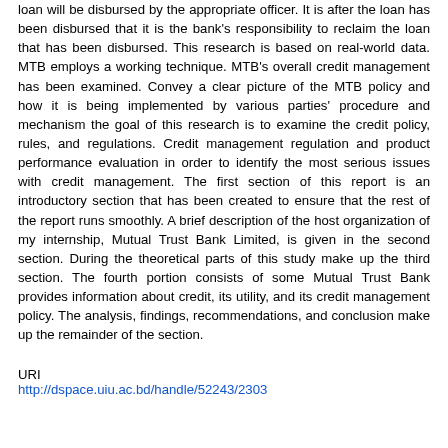loan will be disbursed by the appropriate officer. It is after the loan has been disbursed that it is the bank's responsibility to reclaim the loan that has been disbursed. This research is based on real-world data. MTB employs a working technique. MTB's overall credit management has been examined. Convey a clear picture of the MTB policy and how it is being implemented by various parties' procedure and mechanism the goal of this research is to examine the credit policy, rules, and regulations. Credit management regulation and product performance evaluation in order to identify the most serious issues with credit management. The first section of this report is an introductory section that has been created to ensure that the rest of the report runs smoothly. A brief description of the host organization of my internship, Mutual Trust Bank Limited, is given in the second section. During the theoretical parts of this study make up the third section. The fourth portion consists of some Mutual Trust Bank provides information about credit, its utility, and its credit management policy. The analysis, findings, recommendations, and conclusion make up the remainder of the section.
URI
http://dspace.uiu.ac.bd/handle/52243/2303